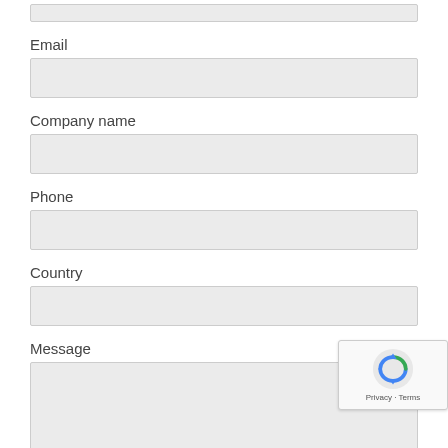Email
Company name
Phone
Country
Message
Name